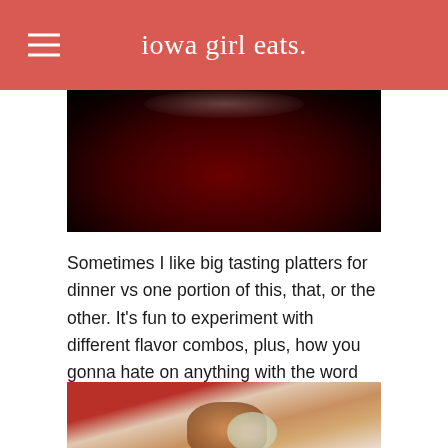iowa girl eats.
[Figure (photo): Top portion of a food photo showing a dark red background, likely a bowl or plate]
Sometimes I like big tasting platters for dinner vs one portion of this, that, or the other. It’s fun to experiment with different flavor combos, plus, how you gonna hate on anything with the word “platter” in the description?
[Figure (photo): Food photo showing what appears to be appetizers or tasting platter items with a creamy sauce, on a white plate with red accents in background]